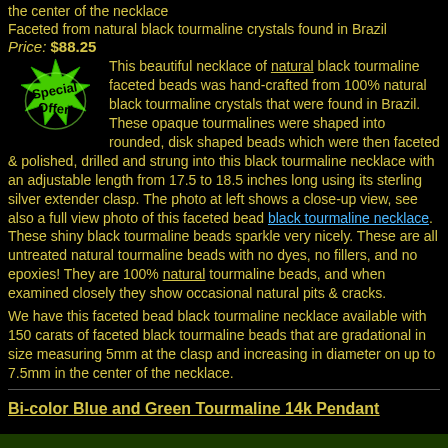the center of the necklace
Faceted from natural black tourmaline crystals found in Brazil
Price: $88.25
[Figure (illustration): Green star-burst 'Special Offer!' badge graphic]
This beautiful necklace of natural black tourmaline faceted beads was hand-crafted from 100% natural black tourmaline crystals that were found in Brazil. These opaque tourmalines were shaped into rounded, disk shaped beads which were then faceted & polished, drilled and strung into this black tourmaline necklace with an adjustable length from 17.5 to 18.5 inches long using its sterling silver extender clasp. The photo at left shows a close-up view, see also a full view photo of this faceted bead black tourmaline necklace. These shiny black tourmaline beads sparkle very nicely. These are all untreated natural tourmaline beads with no dyes, no fillers, and no epoxies! They are 100% natural tourmaline beads, and when examined closely they show occasional natural pits & cracks.
We have this faceted bead black tourmaline necklace available with 150 carats of faceted black tourmaline beads that are gradational in size measuring 5mm at the clasp and increasing in diameter on up to 7.5mm in the center of the necklace.
Bi-color Blue and Green Tourmaline 14k Pendant